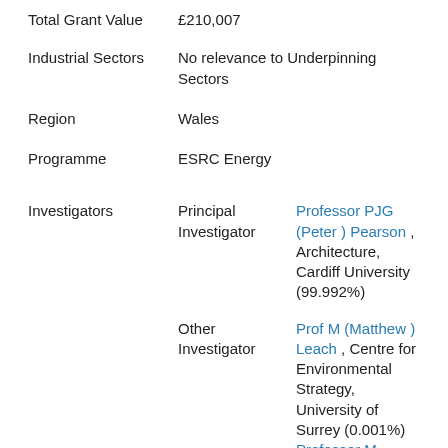Total Grant Value	£210,007
Industrial Sectors	No relevance to Underpinning Sectors
Region	Wales
Programme	ESRC Energy
Investigators	Principal Investigator	Professor PJG (Peter ) Pearson , Architecture, Cardiff University (99.992%)
Other Investigator	Prof M (Matthew ) Leach , Centre for Environmental Strategy, University of Surrey (0.001%)
Professor M (Michael ) Grubb , Centre for